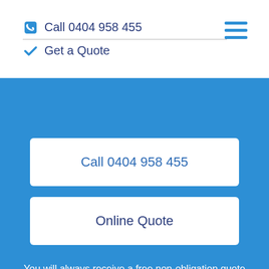Call 0404 958 455 | Get a Quote
Call 0404 958 455
Online Quote
You will always receive a free non-obligation quote and can feel rest assured that we use the best equipment to get the job done in a speedy manner, so leave the hard work to the gentle giants who go the extra mile to satisfy all of their clients.